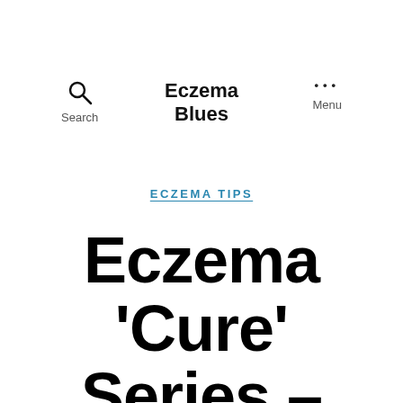Eczema Blues — Search | Menu
ECZEMA TIPS
Eczema 'Cure' Series – Do How